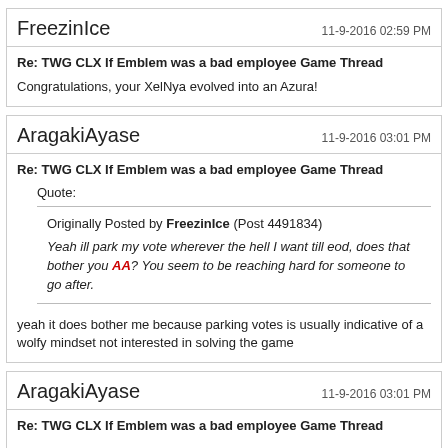FreezinIce   11-9-2016 02:59 PM
Re: TWG CLX If Emblem was a bad employee Game Thread
Congratulations, your XelNya evolved into an Azura!
AragakiAyase   11-9-2016 03:01 PM
Re: TWG CLX If Emblem was a bad employee Game Thread
Quote: Originally Posted by FreezinIce (Post 4491834) Yeah ill park my vote wherever the hell I want till eod, does that bother you AA? You seem to be reaching hard for someone to go after.
yeah it does bother me because parking votes is usually indicative of a wolfy mindset not interested in solving the game
AragakiAyase   11-9-2016 03:01 PM
Re: TWG CLX If Emblem was a bad employee Game Thread